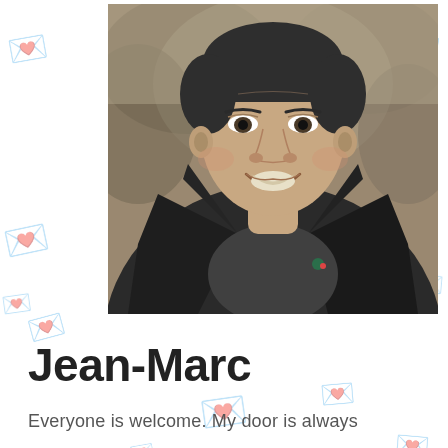[Figure (photo): Portrait photo of a smiling middle-aged man wearing a dark leather jacket over a dark grey V-neck sweater and a light blue collared shirt, photographed outdoors with a blurred natural background.]
Jean-Marc
Everyone is welcome. My door is always